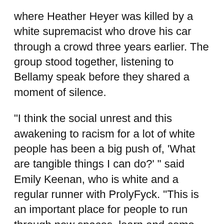where Heather Heyer was killed by a white supremacist who drove his car through a crowd three years earlier. The group stood together, listening to Bellamy speak before they shared a moment of silence.
"I think the social unrest and this awakening to racism for a lot of white people has been a big push of, 'What are tangible things I can do?' " said Emily Keenan, who is white and a regular runner with ProlyFyck. "This is an important place for people to run through new spaces, learn and come together. Especially in a time when it's hard to do that."
Sarah Messer, 32, learned about ProlyFyck from her sister-in-law. She decided to show up one morning in late July — and has yet to miss a single run since.
"The energy was so infectious," Messer said. "They say no person left behind, and it's true. It's so